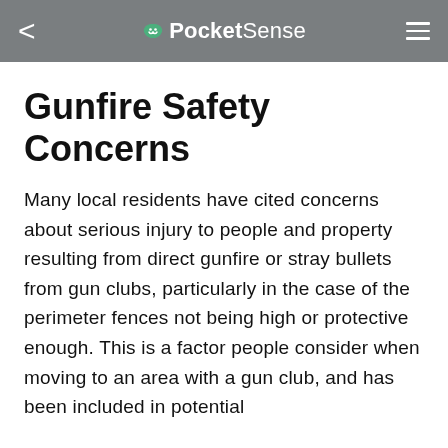PocketSense
Gunfire Safety Concerns
Many local residents have cited concerns about serious injury to people and property resulting from direct gunfire or stray bullets from gun clubs, particularly in the case of the perimeter fences not being high or protective enough. This is a factor people consider when moving to an area with a gun club, and has been included in potential